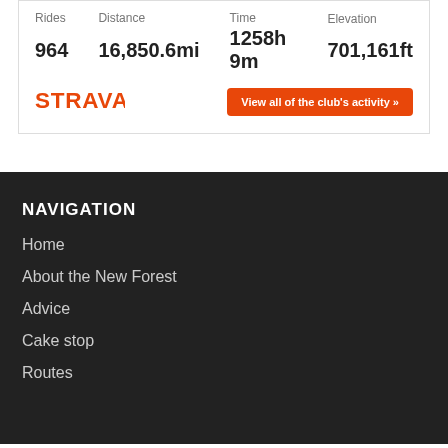| Rides | Distance | Time | Elevation |
| --- | --- | --- | --- |
| 964 | 16,850.6mi | 1258h 9m | 701,161ft |
[Figure (logo): Strava logo in orange]
View all of the club's activity »
NAVIGATION
Home
About the New Forest
Advice
Cake stop
Routes